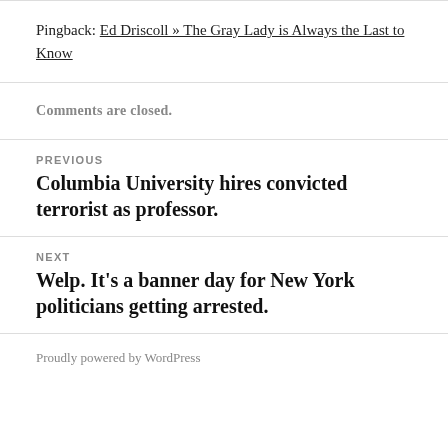Pingback: Ed Driscoll » The Gray Lady is Always the Last to Know
Comments are closed.
PREVIOUS
Columbia University hires convicted terrorist as professor.
NEXT
Welp. It's a banner day for New York politicians getting arrested.
Proudly powered by WordPress